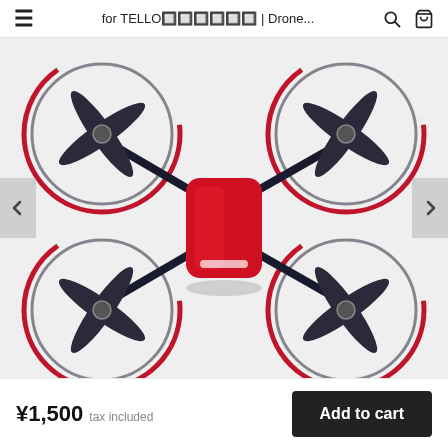for TELLO プロペラガード | Drone...
[Figure (photo): Top-down view of a red DJI Tello drone with dark propeller guards fitted, photographed against a white surface. The drone has four propellers and red circular prop guards. Navigation arrows are visible on the left and right sides of the image.]
¥1,500  tax included
Add to cart